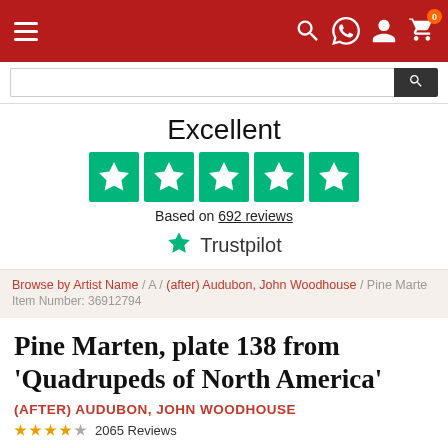[Figure (screenshot): Website navigation bar with red background, hamburger menu icon on left, and icons (search, WhatsApp, user, cart with 0 badge) on right]
[Figure (screenshot): Search input bar with dark search button on the right]
Excellent
[Figure (infographic): Five green Trustpilot star rating boxes]
Based on 692 reviews
[Figure (logo): Trustpilot logo with green star]
Browse by Artist Name / A / (after) Audubon, John Woodhouse / Pine Marte
Item Number: 36912794
Pine Marten, plate 138 from 'Quadrupeds of North America'
(AFTER) AUDUBON, JOHN WOODHOUSE
2065 Reviews
Get hand painted museum quality reproduction of "Pine Marten,